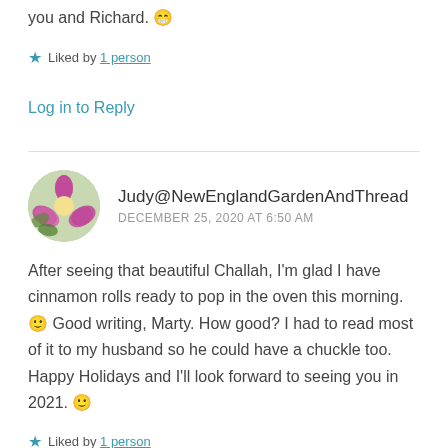you and Richard. 😁
★ Liked by 1 person
Log in to Reply
Judy@NewEnglandGardenAndThread
DECEMBER 25, 2020 AT 6:50 AM
After seeing that beautiful Challah, I'm glad I have cinnamon rolls ready to pop in the oven this morning. 🙂 Good writing, Marty. How good? I had to read most of it to my husband so he could have a chuckle too. Happy Holidays and I'll look forward to seeing you in 2021. 🙂
★ Liked by 1 person